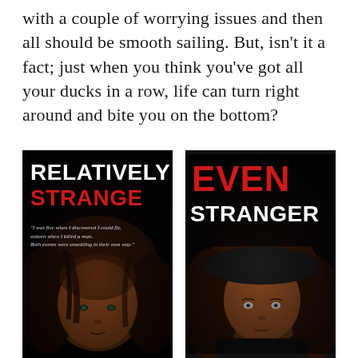with a couple of worrying issues and then all should be smooth sailing. But, isn't it a fact; just when you think you've got all your ducks in a row, life can turn right around and bite you on the bottom?
[Figure (illustration): Two book covers side by side. Left: 'Relatively Strange' with red subtitle text and tagline 'I was five when I discovered I could fly, sixteen when I killed a man. Both events were unsettling in their own way.' over a dark photo of a young girl with brown hair. Right: 'Even Stranger' with red EVEN and white STRANGER text over a dark photo of a red-haired girl.]